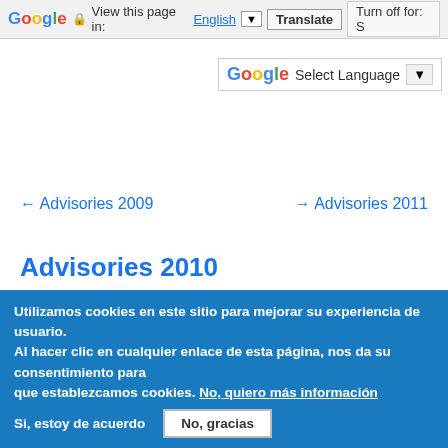Google  View this page in: English ▼  Translate  Turn off for: S
[Figure (other): Google Translate Select Language widget with G logo and dropdown arrow]
← Advisories 2009
→ Advisories 2011
Advisories 2010
2010-001: Facebook HTML and Script code injection vulnerability.
2010-002: Facebook Cross Site Request Forgery vulnerability.
Utilizamos cookies en este sitio para mejorar su experiencia de usuario. Al hacer clic en cualquier enlace de esta página, nos da su consentimiento para que establezcamos cookies. No, quiero más información
Si, estoy de acuerdo   No, gracias